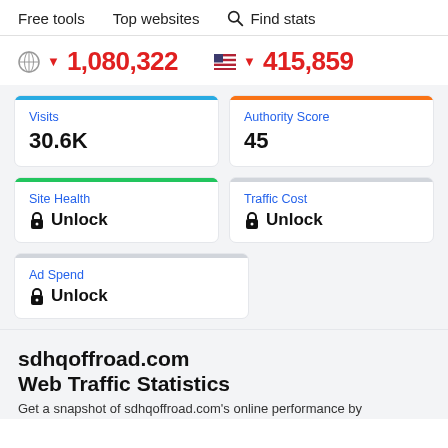Free tools   Top websites   🔍 Find stats
🌐 ▼ 1,080,322   🇺🇸 ▼ 415,859
Visits
30.6K
Authority Score
45
Site Health
🔒 Unlock
Traffic Cost
🔒 Unlock
Ad Spend
🔒 Unlock
sdhqoffroad.com Web Traffic Statistics
Get a snapshot of sdhqoffroad.com's online performance by